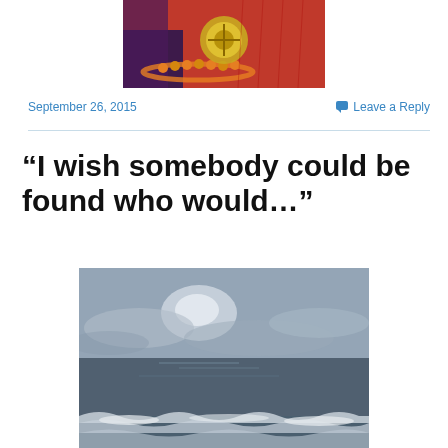[Figure (photo): Partial photo at top of page showing colorful decorative items with red fabric, golden ornament and beads]
September 26, 2015
Leave a Reply
“I wish somebody could be found who would…”
[Figure (photo): Black and white photo of ocean waves with overcast sky, sun partially visible through clouds, whitecaps in foreground]